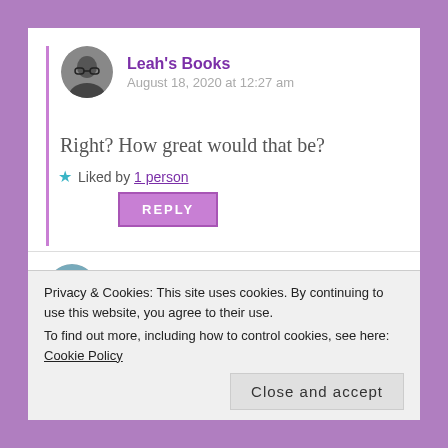Leah's Books
August 18, 2020 at 12:27 am
Right? How great would that be?
★ Liked by 1 person
REPLY
Christopher | Plucked from the Stacks
August 18, 2020 at 12:44 am
Get a Life, Chloe Brown barely missed make it onto
Privacy & Cookies: This site uses cookies. By continuing to use this website, you agree to their use.
To find out more, including how to control cookies, see here: Cookie Policy
Close and accept